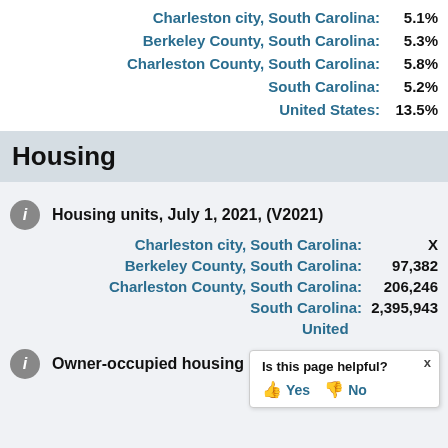Charleston city, South Carolina: 5.1%
Berkeley County, South Carolina: 5.3%
Charleston County, South Carolina: 5.8%
South Carolina: 5.2%
United States: 13.5%
Housing
Housing units, July 1, 2021, (V2021)
Charleston city, South Carolina: X
Berkeley County, South Carolina: 97,382
Charleston County, South Carolina: 206,246
South Carolina: 2,395,943
United States: 140,152,312
Owner-occupied housing unit
Is this page helpful? Yes No